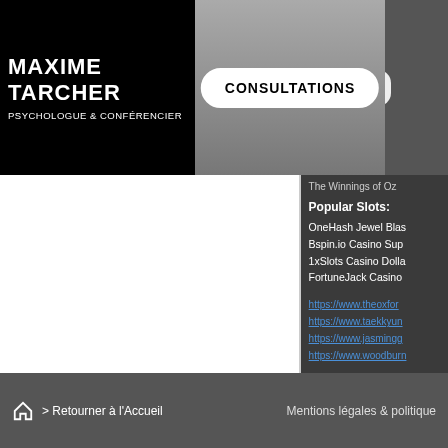MAXIME TARCHER
PSYCHOLOGUE & CONFÉRENCIER
CONSULTATIONS
C
The Winnings of Oz
Popular Slots:
OneHash Jewel Blas
Bspin.io Casino Sup
1xSlots Casino Dolla
FortuneJack Casino
https://www.theoxfor
https://www.taekkyun
https://www.jasmingg
https://www.woodburn
> Retourner à l'Accueil   Mentions légales & politique